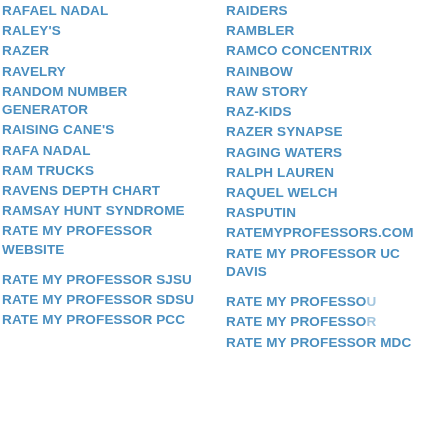RAFAEL NADAL
RALEY'S
RAZER
RAVELRY
RANDOM NUMBER GENERATOR
RAISING CANE'S
RAFA NADAL
RAM TRUCKS
RAVENS DEPTH CHART
RAMSAY HUNT SYNDROME
RATE MY PROFESSOR WEBSITE
RATE MY PROFESSOR SJSU
RATE MY PROFESSOR SDSU
RATE MY PROFESSOR PCC
RAIDERS
RAMBLER
RAMCO CONCENTRIX
RAINBOW
RAW STORY
RAZ-KIDS
RAZER SYNAPSE
RAGING WATERS
RALPH LAUREN
RAQUEL WELCH
RASPUTIN
RATEMYPROFESSORS.COM
RATE MY PROFESSOR UC DAVIS
RATE MY PROFESSOR U
RATE MY PROFESSOR R
RATE MY PROFESSOR MDC